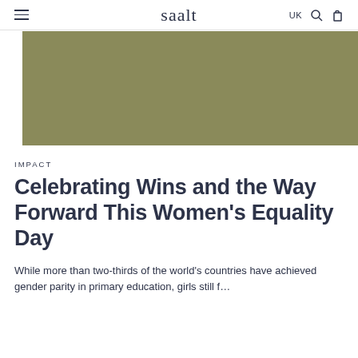saalt | UK
[Figure (photo): Olive/khaki colored rectangular hero image placeholder]
IMPACT
Celebrating Wins and the Way Forward This Women's Equality Day
While more than two-thirds of the world's countries have achieved gender parity in primary education, girls still f…